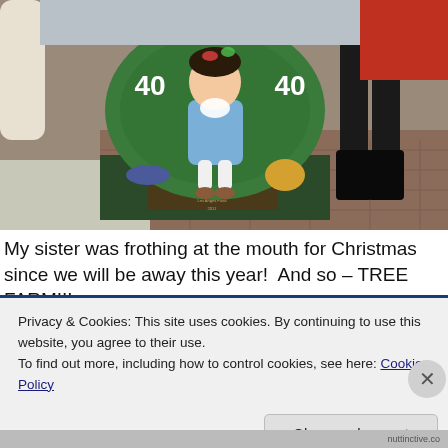[Figure (photo): A toddler girl in a blue dress and white stockings sitting on a large decorative sculpture with '40' markings, on a brick patio. An adult stands behind. The sculpture has a green and colorful design with a plaque at the base.]
My sister was frothing at the mouth for Christmas since we will be away this year!  And so – TREE FARM!!!
Privacy & Cookies: This site uses cookies. By continuing to use this website, you agree to their use.
To find out more, including how to control cookies, see here: Cookie Policy
Close and accept